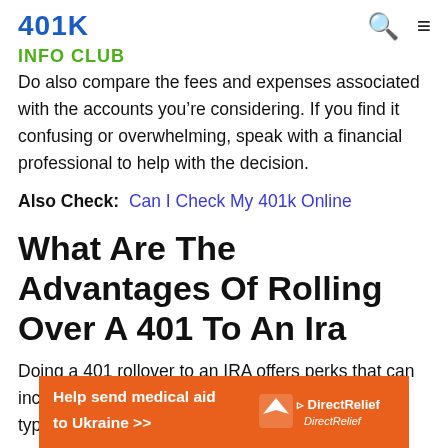401K
INFO CLUB
Do also compare the fees and expenses associated with the accounts you’re considering. If you find it confusing or overwhelming, speak with a financial professional to help with the decision.
Also Check: Can I Check My 401k Online
What Are The Advantages Of Rolling Over A 401 To An Ira
Doing a 401 rollover to an IRA offers perks that can include more diverse investment selections than a typical 401 plan,
[Figure (infographic): Orange advertisement banner for Direct Relief: 'Help send medical aid to Ukraine >>' with Direct Relief logo on right side.]